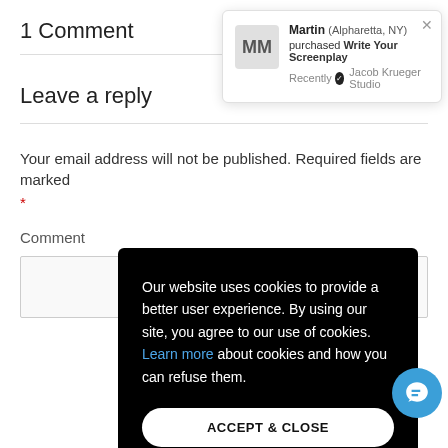1 Comment
Leave a reply
Your email address will not be published. Required fields are marked *
Comment
[Figure (screenshot): Notification popup: Martin (Alpharetta, NY) purchased Write Your Screenplay. Recently verified Jacob Krueger Studio.]
[Figure (screenshot): Cookie consent overlay on black background: 'Our website uses cookies to provide a better user experience. By using our site, you agree to our use of cookies. Learn more about cookies and how you can refuse them.' with an ACCEPT & CLOSE button.]
[Figure (screenshot): Blue circular chat button with message icon in bottom right corner.]